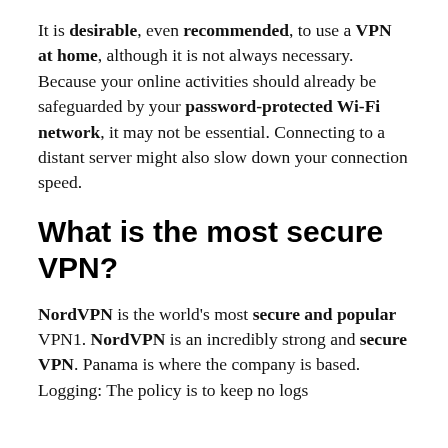It is desirable, even recommended, to use a VPN at home, although it is not always necessary. Because your online activities should already be safeguarded by your password-protected Wi-Fi network, it may not be essential. Connecting to a distant server might also slow down your connection speed.
What is the most secure VPN?
NordVPN is the world's most secure and popular VPN1. NordVPN is an incredibly strong and secure VPN. Panama is where the company is based. Logging: The policy is to keep no logs